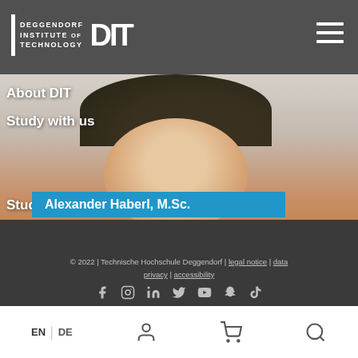DEGGENDORF INSTITUTE OF TECHNOLOGY DIT
[Figure (photo): Photo of Alexander Haberl, M.Sc., smiling, wearing an orange shirt and dark cap, arms crossed. Navigation menu items visible on left side overlapping the photo: About DIT, Study with us, Students, Research.]
Alexander Haberl, M.Sc.
Operative Manager
[Figure (photo): Partial photo of a second person with dark hair, with text Further education and Business overlaid on left side.]
Further education
Business
EN | DE  [user icon] [cart icon] [search icon]  © 2022 | Technische Hochschule Deggendorf | legal notice | data privacy | accessibility  [Facebook] [Instagram] [LinkedIn] [Twitter] [YouTube] [Snapchat] [TikTok]